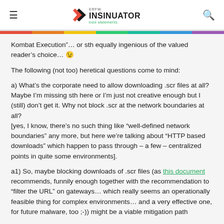ERFW INSINUATOR bold statements.
Kombat Execution"… or sth equally ingenious of the valued reader's choice… 😉
The following (not too) heretical questions come to mind:
a) What's the corporate need to allow downloading .scr files at all? Maybe I'm missing sth here or I'm just not creative enough but I (still) don't get it. Why not block .scr at the network boundaries at all?
[yes, I know, there's no such thing like "well-defined network boundaries" any more, but here we're talking about "HTTP based downloads" which happen to pass through – a few – centralized points in quite some environments].
a1) So, maybe blocking downloads of .scr files (as this document recommends, funnily enough together with the recommendation to "filter the URL" on gateways… which really seems an operationally feasible thing for complex environments… and a very effective one, for future malware, too ;-)) might be a viable mitigation path